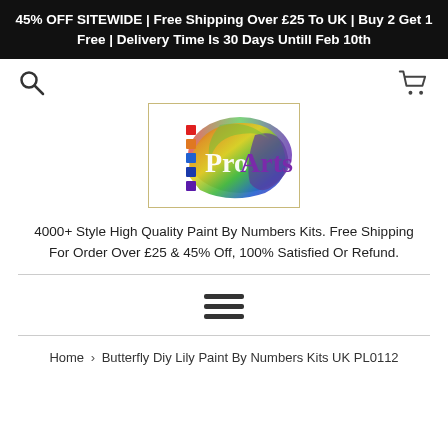45% OFF SITEWIDE | Free Shipping Over £25 To UK | Buy 2 Get 1 Free | Delivery Time Is 30 Days Untill Feb 10th
[Figure (logo): ProArts logo with rainbow paint splash background and colorful square dots on the left side, inside a gold/tan border frame]
4000+ Style High Quality Paint By Numbers Kits. Free Shipping For Order Over £25 & 45% Off, 100% Satisfied Or Refund.
[Figure (other): Hamburger menu icon with three horizontal lines]
Home › Butterfly Diy Lily Paint By Numbers Kits UK PL0112